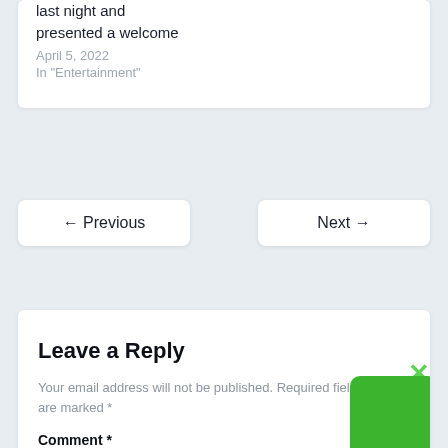last night and presented a welcome
April 5, 2022
In "Entertainment"
← Previous
Next →
Leave a Reply
Your email address will not be published. Required fields are marked *
Comment *